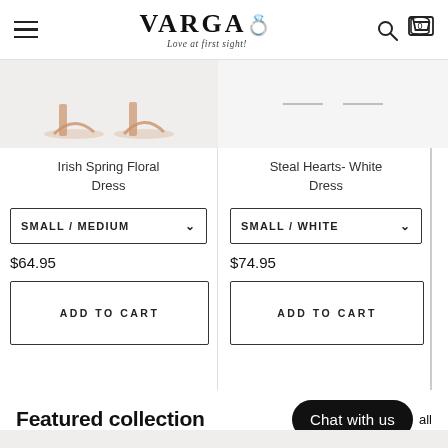VARGA — Love at first sight!
[Figure (photo): Partial product image of Irish Spring Floral Dress showing heeled sandals on white background]
[Figure (photo): Partial product image of Steal Hearts White Dress on light background]
Irish Spring Floral Dress
Steal Hearts- White Dress
SMALL / MEDIUM
SMALL / WHITE
$64.95
$74.95
ADD TO CART
ADD TO CART
Featured collection
Chat with us
all